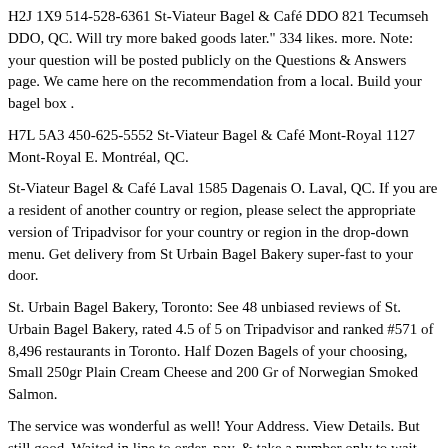H2J 1X9 514-528-6361 St-Viateur Bagel & Café DDO 821 Tecumseh DDO, QC. Will try more baked goods later." 334 likes. more. Note: your question will be posted publicly on the Questions & Answers page. We came here on the recommendation from a local. Build your bagel box .
H7L 5A3 450-625-5552 St-Viateur Bagel & Café Mont-Royal 1127 Mont-Royal E. Montréal, QC.
St-Viateur Bagel & Café Laval 1585 Dagenais O. Laval, QC. If you are a resident of another country or region, please select the appropriate version of Tripadvisor for your country or region in the drop-down menu. Get delivery from St Urbain Bagel Bakery super-fast to your door.
St. Urbain Bagel Bakery, Toronto: See 48 unbiased reviews of St. Urbain Bagel Bakery, rated 4.5 of 5 on Tripadvisor and ranked #571 of 8,496 restaurants in Toronto. Half Dozen Bagels of your choosing, Small 250gr Plain Cream Cheese and 200 Gr of Norwegian Smoked Salmon.
The service was wonderful as well! Your Address. View Details. But still good. Waited in line to order, pay, & take a number only to wait with another swarm of people to finally receive my teeny, hardly